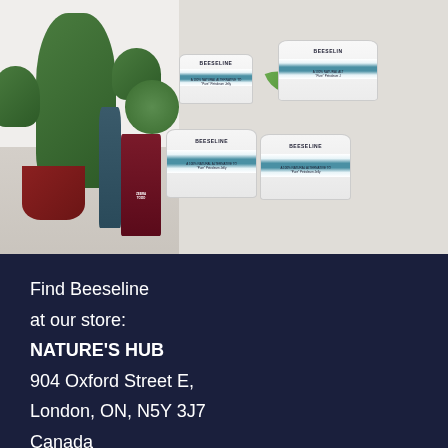[Figure (photo): Photo of Beeseline products (white jars labeled 'BEESELINE - A 100% Natural Alternative to Pure Petroleum Jelly') displayed in a store setting alongside cacti and other plants, with shelving visible in the background.]
Find Beeseline at our store: NATURE'S HUB 904 Oxford Street E, London, ON, N5Y 3J7 Canada